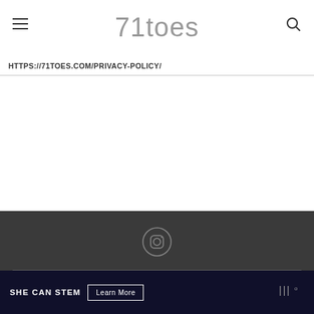71toes
HTTPS://71TOES.COM/PRIVACY-POLICY/
[Figure (logo): Instagram icon in circle outline]
@2019 71toes - All Right Reserved.
BACK TO TOP
Exclusive Member of Mediavine Family
UA-15801285-2
SHE CAN STEM  Learn More